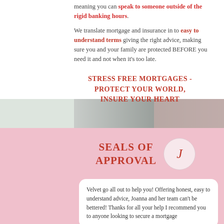meaning you can speak to someone outside of the rigid banking hours.
We translate mortgage and insurance in to easy to understand terms giving the right advice, making sure you and your family are protected BEFORE you need it and not when it's too late.
STRESS FREE MORTGAGES - PROTECT YOUR WORLD, INSURE YOUR HEART
SEALS OF APPROVAL
Velvet go all out to help you! Offering honest, easy to understand advice, Joanna and her team can't be bettered! Thanks for all your help I recommend you to anyone looking to secure a mortgage